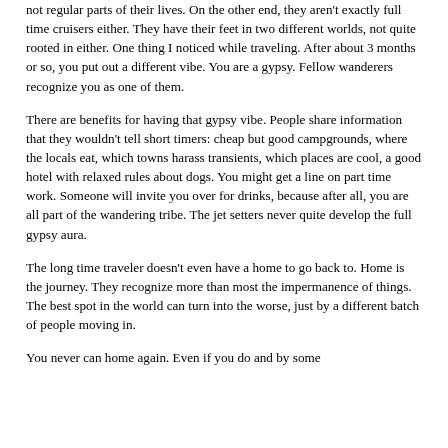not regular parts of their lives. On the other end, they aren't exactly full time cruisers either. They have their feet in two different worlds, not quite rooted in either. One thing I noticed while traveling. After about 3 months or so, you put out a different vibe. You are a gypsy. Fellow wanderers recognize you as one of them.
There are benefits for having that gypsy vibe. People share information that they wouldn't tell short timers: cheap but good campgrounds, where the locals eat, which towns harass transients, which places are cool, a good hotel with relaxed rules about dogs. You might get a line on part time work. Someone will invite you over for drinks, because after all, you are all part of the wandering tribe. The jet setters never quite develop the full gypsy aura.
The long time traveler doesn't even have a home to go back to. Home is the journey. They recognize more than most the impermanence of things. The best spot in the world can turn into the worse, just by a different batch of people moving in.
You never can home again. Even if you do and by some